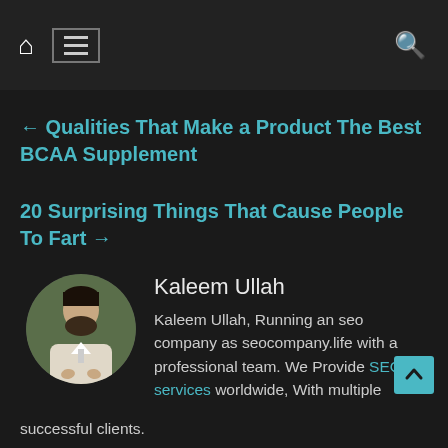Navigation bar with home icon, menu icon, and search icon
← Qualities That Make a Product The Best BCAA Supplement
20 Surprising Things That Cause People To Fart →
Kaleem Ullah
Kaleem Ullah, Running an seo company as seocompany.life with a professional team. We Provide SEO services worldwide, With multiple successful clients.